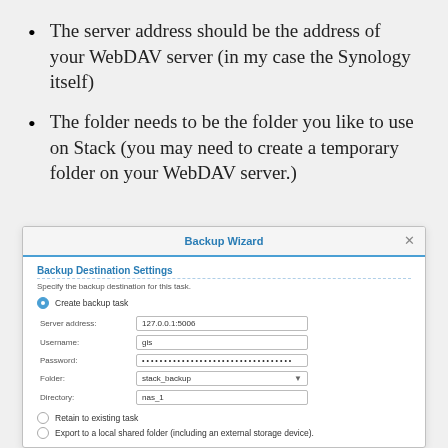The server address should be the address of your WebDAV server (in my case the Synology itself)
The folder needs to be the folder you like to use on Stack (you may need to create a temporary folder on your WebDAV server.)
[Figure (screenshot): Screenshot of Backup Wizard dialog showing Backup Destination Settings with fields: Server address (127.0.0.1:5006), Username (gis), Password (hidden), Folder (stack_backup dropdown), Directory (nas_1). Radio options at bottom: Retain to existing task, Export to a local shared folder (including an external storage device).]